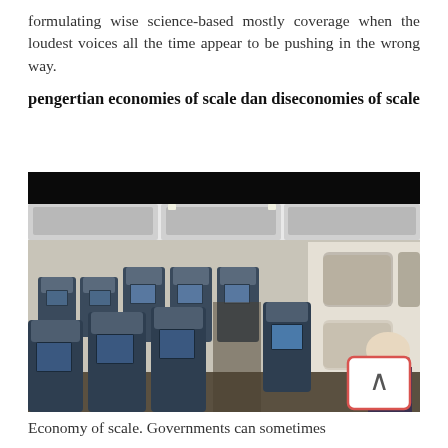formulating wise science-based mostly coverage when the loudest voices all the time appear to be pushing in the wrong way.
pengertian economies of scale dan diseconomies of scale
[Figure (photo): Interior of an airplane cabin showing rows of economy class seats with blue upholstery and individual seatback screens. Overhead bins visible, windows on the right side. A scroll-to-top button with a caret/up-arrow symbol overlaid in the bottom-right corner of the image.]
Economy of scale. Governments can sometimes